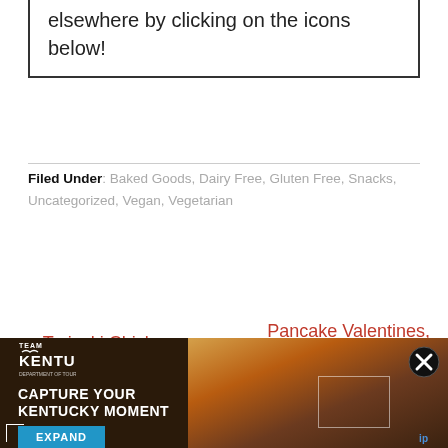elsewhere by clicking on the icons below!
Filed Under: Baked Goods, Dairy Free, Gluten Free, Snacks, Uncategorized, Vegan, Vegetarian
« Teriyaki Chicken Wings (gluten and refined sugar free)
Pancake Valentines, Pancake Dipping Sticks, and Cookie Cutter Pancakes »
[Figure (photo): Team Kentucky advertisement banner with sunset and shelter photo, 'Capture Your Kentucky Moment' text, and Expand button]